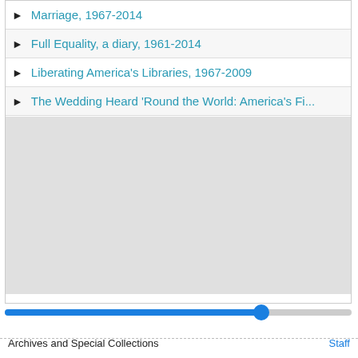Marriage, 1967-2014
Full Equality, a diary, 1961-2014
Liberating America's Libraries, 1967-2009
The Wedding Heard 'Round the World: America's Fi...
[Figure (screenshot): Gray empty panel below the list items, representing a content/preview area]
[Figure (other): Horizontal slider with blue fill up to ~74% and a blue circular thumb]
Archives and Special Collections
Staff